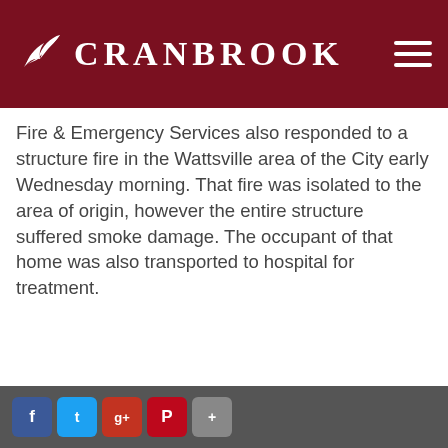CRANBROOK
Fire & Emergency Services also responded to a structure fire in the Wattsville area of the City early Wednesday morning. That fire was isolated to the area of origin, however the entire structure suffered smoke damage. The occupant of that home was also transported to hospital for treatment.
Fire & Emergency Services stresses how vitally important that all residents be diligent in making fire prevention their priority each day, especially with the coming summer months increasing fire risks. Make sure your home's smoke alarms are working and they are testing your fire escape plan and practice it.
ABOUT OUR COOKIE USE
The City of Cranbrook website uses cookies to serve our site securely, provide functionality, and collect analytics information. You may also opt-out or learn more. Continuing to use the site will automatically accept all cookies.
ACCEPT